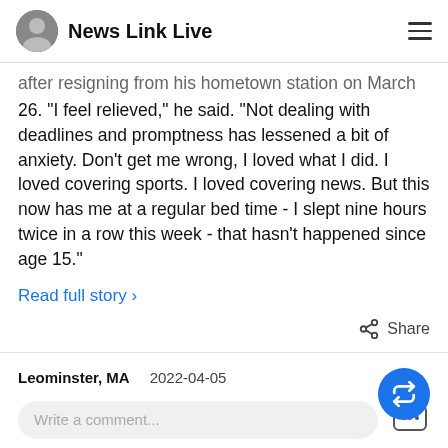News Link Live
after resigning from his hometown station on March 26. “I feel relieved,” he said. “Not dealing with deadlines and promptness has lessened a bit of anxiety. Don’t get me wrong, I loved what I did. I loved covering sports. I loved covering news. But this now has me at a regular bed time - I slept nine hours twice in a row this week - that hasn’t happened since age 15.”
Read full story ›
Share
Leominster, MA   2022-04-05
Write a comment...